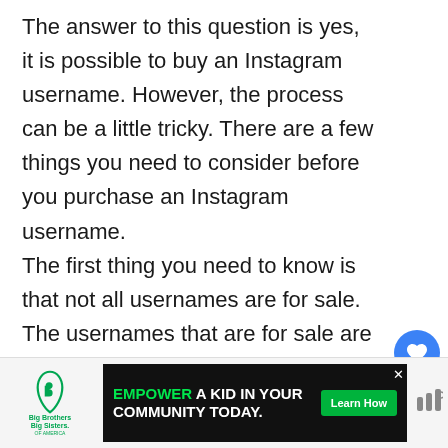The answer to this question is yes, it is possible to buy an Instagram username. However, the process can be a little tricky. There are a few things you need to consider before you purchase an Instagram username. The first thing you need to know is that not all usernames are for sale. The usernames that are for sale are typically ones that have been inactive for a long time or have been registered by someone who no longer uses them.
[Figure (infographic): Like button (blue circle with heart), count of 2, share button (gray circle with share icon)]
[Figure (infographic): What's Next widget showing Instagram icon and text 'Can you have 2 Instagram...']
[Figure (infographic): Bottom advertisement bar: Big Brothers Big Sisters logo on left, black ad banner 'EMPOWER A KID IN YOUR COMMUNITY TODAY' with Learn How button, and right icon]